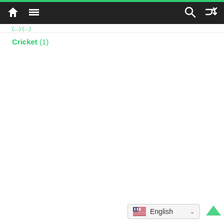Navigation bar with home, menu, search, and shuffle icons
Cricket (1)
English (language selector dropdown)